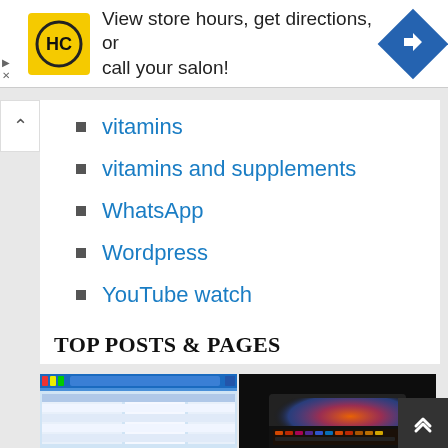[Figure (infographic): Advertisement banner: HC logo (yellow square with HC in black circle), text 'View store hours, get directions, or call your salon!', blue diamond navigation arrow icon on right. Small play and X icons on left edge.]
vitamins
vitamins and supplements
WhatsApp
Wordpress
YouTube watch
TOP POSTS & PAGES
[Figure (screenshot): Two thumbnail images side by side: left shows a software/spreadsheet screenshot with blue toolbar, right shows a laptop with colorful illuminated keyboard on a dark background.]